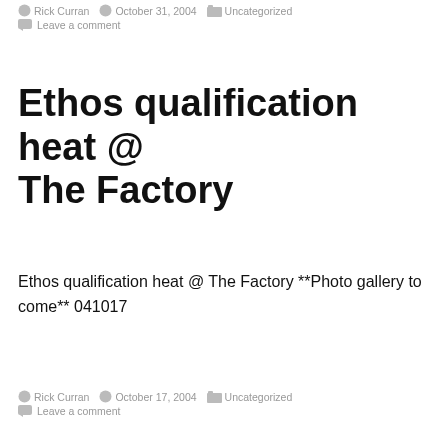Rick Curran   October 31, 2004   Uncategorized
Leave a comment
Ethos qualification heat @ The Factory
Ethos qualification heat @ The Factory **Photo gallery to come** 041017
Rick Curran   October 17, 2004   Uncategorized
Leave a comment